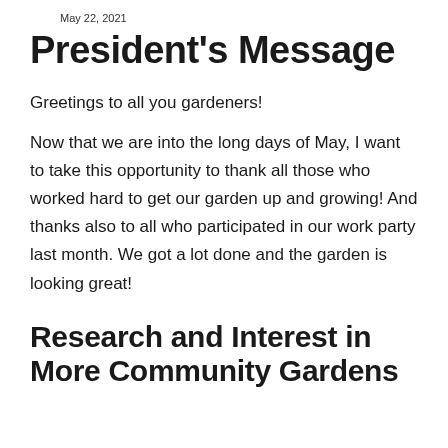May 22, 2021
President's Message
Greetings to all you gardeners!
Now that we are into the long days of May, I want to take this opportunity to thank all those who worked hard to get our garden up and growing! And thanks also to all who participated in our work party last month. We got a lot done and the garden is looking great!
Research and Interest in More Community Gardens